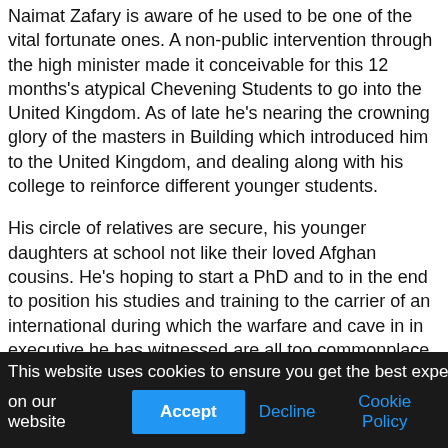Naimat Zafary is aware of he used to be one of the vital fortunate ones. A non-public intervention through the high minister made it conceivable for this 12 months's atypical Chevening Students to go into the United Kingdom. As of late he's nearing the crowning glory of the masters in Building which introduced him to the United Kingdom, and dealing along with his college to reinforce different younger students.
His circle of relatives are secure, his younger daughters at school not like their loved Afghan cousins. He's hoping to start a PhD and to in the end to position his studies and training to the carrier of an international during which the warfare and cave in in executive he has witnessed are all too commonplace.
This website uses cookies to ensure you get the best experience on our website  Accept  Decline  Cookie Policy